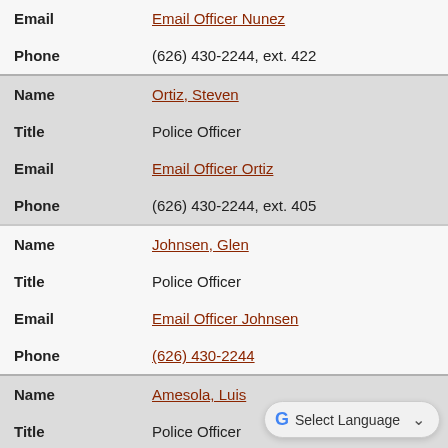| Email | Email Officer Nunez |
| Phone | (626) 430-2244, ext. 422 |
| Name | Ortiz, Steven |
| Title | Police Officer |
| Email | Email Officer Ortiz |
| Phone | (626) 430-2244, ext. 405 |
| Name | Johnsen, Glen |
| Title | Police Officer |
| Email | Email Officer Johnsen |
| Phone | (626) 430-2244 |
| Name | Amesola, Luis |
| Title | Police Officer |